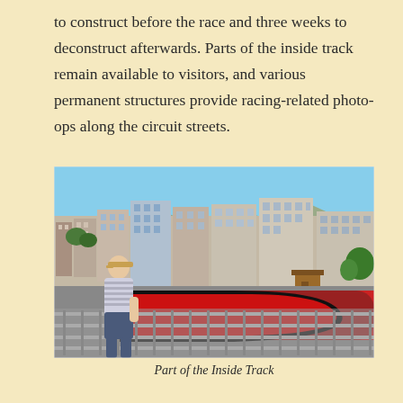to construct before the race and three weeks to deconstruct afterwards. Parts of the inside track remain available to visitors, and various permanent structures provide racing-related photo-ops along the circuit streets.
[Figure (photo): A man standing near metal barrier fencing on the Monaco Formula 1 circuit, with red and black race track markings visible and Monaco city buildings in the background.]
Part of the Inside Track